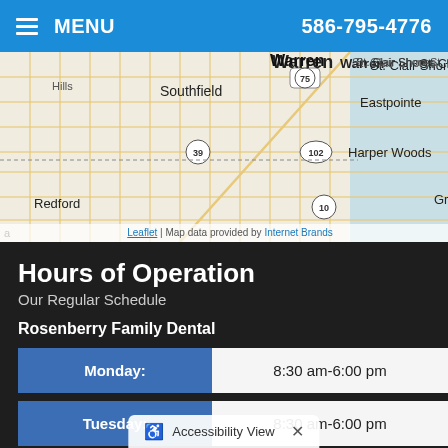MENU   586-795-4776
[Figure (map): Street map showing Warren, St. Clair Shores, Eastpointe, Harper Woods, Southfield, Redford, Grosse areas with highway markers 75, 39, 102, 10. Leaflet | Map data provided by Internet Brands]
Hours of Operation
Our Regular Schedule
Rosenberry Family Dental
| Day | Hours |
| --- | --- |
| Monday: | 8:30 am-6:00 pm |
| Tuesday: | 8:30 am-6:00 pm |